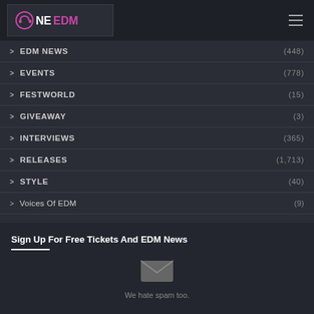OneEDM logo and hamburger menu
EDM NEWS (448)
EVENTS (778)
FESTWORLD (15)
GIVEAWAY (3)
INTERVIEWS (365)
RELEASES (1,713)
STYLE (40)
Voices Of EDM (9)
Sign Up For Free Tickets And EDM News
[Figure (illustration): Envelope/email icon in dark gray]
We hate spam too.